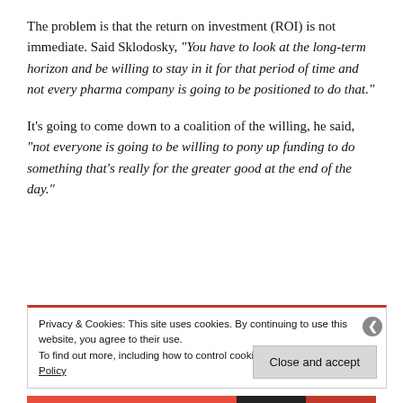The problem is that the return on investment (ROI) is not immediate. Said Sklodosky, “You have to look at the long-term horizon and be willing to stay in it for that period of time and not every pharma company is going to be positioned to do that.”
It’s going to come down to a coalition of the willing, he said, “not everyone is going to be willing to pony up funding to do something that’s really for the greater good at the end of the day.”
Privacy & Cookies: This site uses cookies. By continuing to use this website, you agree to their use.
To find out more, including how to control cookies, see here: Cookie Policy